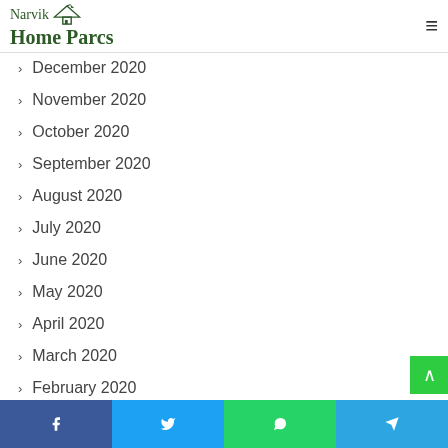Narvik Home Parcs
December 2020
November 2020
October 2020
September 2020
August 2020
July 2020
June 2020
May 2020
April 2020
March 2020
February 2020
Facebook | Twitter | WhatsApp | Telegram